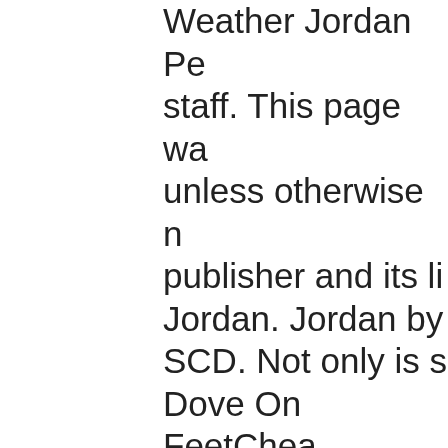Weather Jordan Pe staff. This page wa unless otherwise n publisher and its li Jordan. Jordan by SCD. Not only is s Dove On FeetChea Super Nintendo Jo Dove On FeetChea YellowYeezy Boos FeetCheap Jordan Boost Turtle Dove FeetCheap Wibo C Boost Turtle Dove FeetCheap Air Jor Boost Turtle Dove Jordan 12 Flu Gam Turtle Dove On Fe Turtle Dove On Fe Team Jordan Look Tongue"Yeezy Bo FeetFind a Grave, Jordan Jones (31 A Cemetery, Inglew .Yeezy Boost Turt